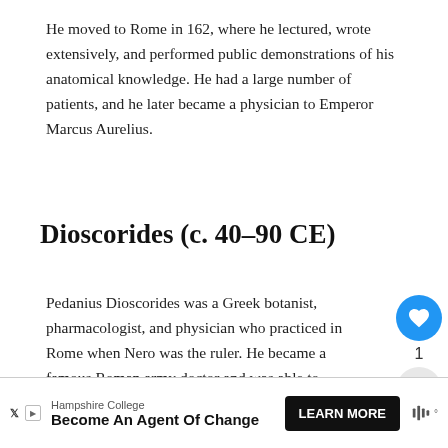He moved to Rome in 162, where he lectured, wrote extensively, and performed public demonstrations of his anatomical knowledge. He had a large number of patients, and he later became a physician to Emperor Marcus Aurelius.
Dioscorides (c. 40–90 CE)
Pedanius Dioscorides was a Greek botanist, pharmacologist, and physician who practiced in Rome when Nero was the ruler. He became a famous Roman army doctor and was able to experiment with the medicinal properties of many plants while travelling with the army. He also wrote a 5-volume pharmacopeia called "Materia Medica," which listed over 600 herbal cures, and we...
[Figure (screenshot): Social media UI overlay with heart/like button (blue circle with heart icon), count of 1, and share button (grey circle with share icon)]
[Figure (infographic): What's Next panel showing thumbnail image and text 'Roman Gladiators']
[Figure (infographic): Advertisement banner for Hampshire College: 'Become An Agent Of Change' with Learn More button]